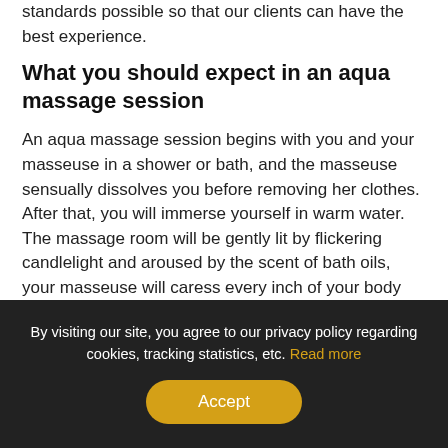standards possible so that our clients can have the best experience.
What you should expect in an aqua massage session
An aqua massage session begins with you and your masseuse in a shower or bath, and the masseuse sensually dissolves you before removing her clothes. After that, you will immerse yourself in warm water. The massage room will be gently lit by flickering candlelight and aroused by the scent of bath oils, your masseuse will caress every inch of your body with her masterful fingers and incredible, glowing curves until you reach a state of complete bliss. Stimulating your body with her own, she will twist herself around you in the flowing water to take
By visiting our site, you agree to our privacy policy regarding cookies, tracking statistics, etc. Read more
Accept